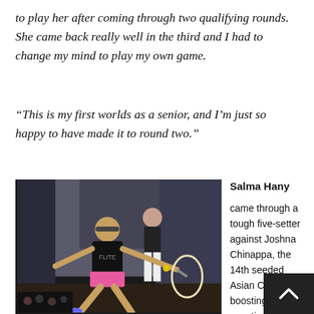to play her after coming through two qualifying rounds. She came back really well in the third and I had to change my mind to play my own game.
“This is my first worlds as a senior, and I’m just so happy to have made it to round two.”
[Figure (photo): Two squash players on a glass squash court. The foreground player wears a black top and pink skirt and is stretching to reach the ball with a white racket. A second player is visible behind.]
Salma Hany came through a tough five-setter against Joshna Chinappa, the 14th seeded Asian Champion, boosting th egyptian co...